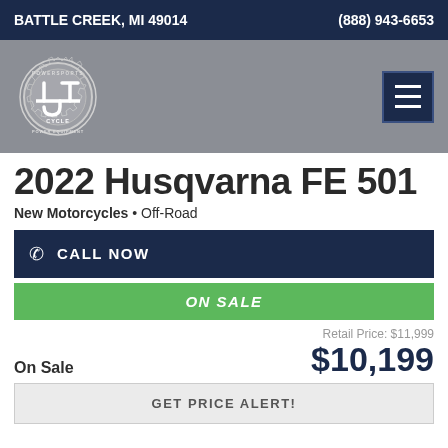BATTLE CREEK, MI 49014   (888) 943-6653
[Figure (logo): JT Cycle Powersports Power Equipment gear logo in white on grey background, with hamburger menu button on the right]
2022 Husqvarna FE 501
New Motorcycles • Off-Road
CALL NOW
ON SALE
Retail Price: $11,999
On Sale   $10,199
GET PRICE ALERT!